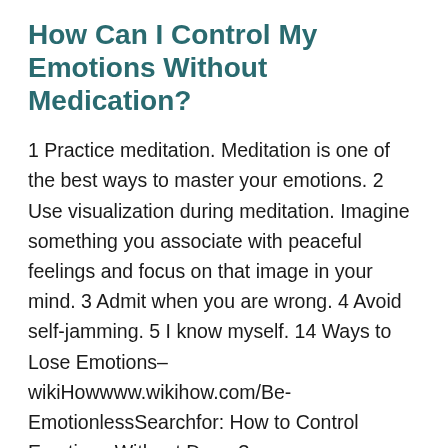How Can I Control My Emotions Without Medication?
1 Practice meditation. Meditation is one of the best ways to master your emotions. 2 Use visualization during meditation. Imagine something you associate with peaceful feelings and focus on that image in your mind. 3 Admit when you are wrong. 4 Avoid self-jamming. 5 I know myself. 14 Ways to Lose Emotions–wikiHowwww.wikihow.com/Be-EmotionlessSearchfor: How to Control Emotions Without Drugs?
How Do I Deal With Repressed